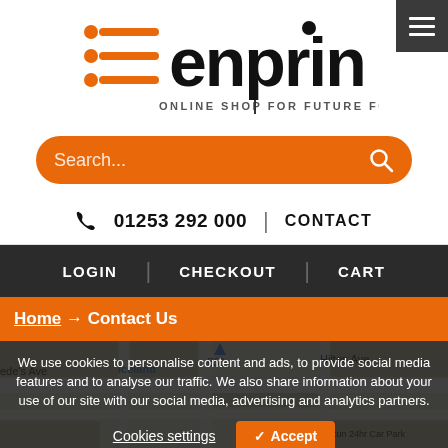[Figure (logo): Enprin logo with orange horizontal lines icon and bold black text 'enprin', tagline 'ONLINE SHOP FOR FUTURE FOCUS ENERGY']
[Figure (screenshot): Orange rounded search bar with placeholder text 'Search...' and magnifying glass icon on right]
01253 292 000   |   CONTACT
LOGIN   |   CHECKOUT   |   CART
Home → Contact Us
[Figure (map): Google Maps snippet showing street map with Iceland store, Hilton Ave, Bede's Ave labels visible]
We use cookies to personalise content and ads, to provide social media features and to analyse our traffic. We also share information about your use of our site with our social media, advertising and analytics partners.
Cookies settings
✓ Accept